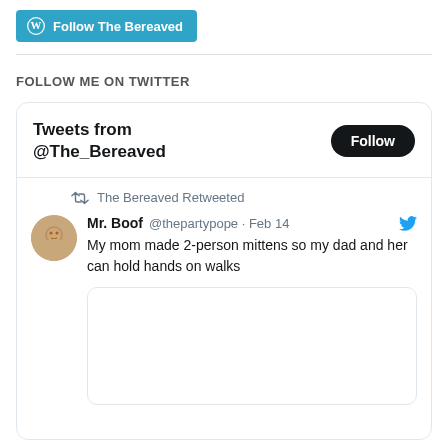[Figure (logo): WordPress Follow The Bereaved button in teal/blue]
FOLLOW ME ON TWITTER
[Figure (screenshot): Embedded Twitter widget showing Tweets from @The_Bereaved with a Follow button, a retweet by The Bereaved of Mr. Boof @thepartypope Feb 14: 'My mom made 2-person mittens so my dad and her can hold hands on walks', with a photo below]